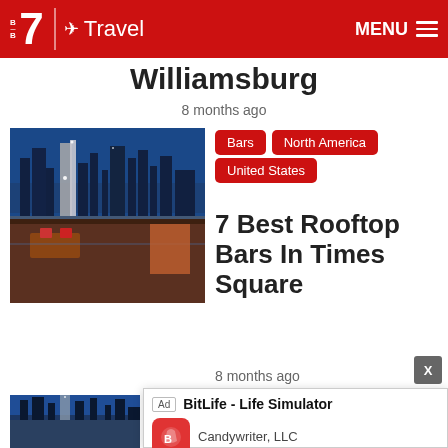B7 Travel  MENU
Williamsburg
8 months ago
[Figure (photo): Rooftop bar with city skyline at dusk]
Bars  North America  United States
7 Best Rooftop Bars In Times Square
8 months ago
[Figure (screenshot): Ad overlay: BitLife - Life Simulator by Candywriter, LLC with Install button]